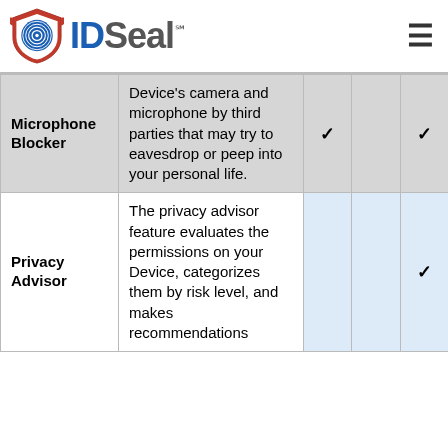IDSeal
| Feature | Description | Col3 | Col4 | Col5 |
| --- | --- | --- | --- | --- |
| Microphone Blocker | Device's camera and microphone by third parties that may try to eavesdrop or peep into your personal life. | ✓ |  | ✓ |
| Privacy Advisor | The privacy advisor feature evaluates the permissions on your Device, categorizes them by risk level, and makes recommendations |  |  | ✓ |